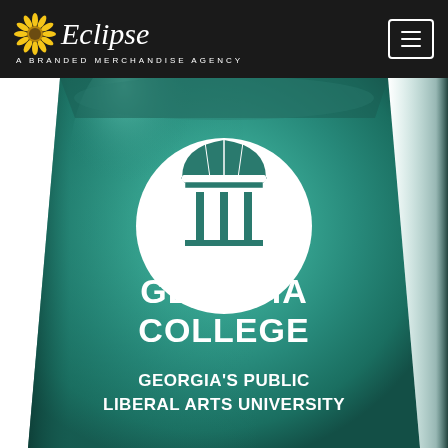Eclipse — A Branded Merchandise Agency (navigation header with hamburger menu)
[Figure (photo): Close-up of a teal/green branded tumbler cup displaying the Georgia College logo (a gazebo/bell tower icon inside a white circle) and the text 'GEORGIA COLLEGE' and 'GEORGIA'S PUBLIC LIBERAL ARTS UNIVERSITY' in white lettering on the teal surface.]